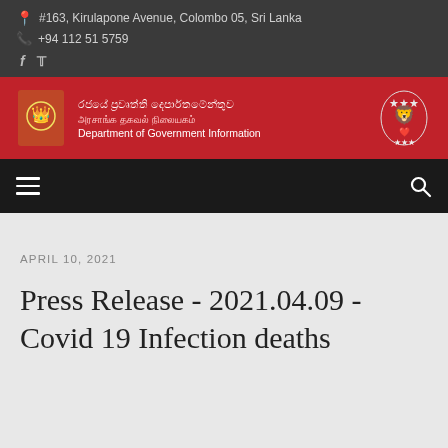#163, Kirulapone Avenue, Colombo 05, Sri Lanka | +94 112 51 5759
[Figure (logo): Department of Government Information logo banner with Sri Lanka crest, Sinhala, Tamil and English text]
APRIL 10, 2021
Press Release - 2021.04.09 - Covid 19 Infection deaths